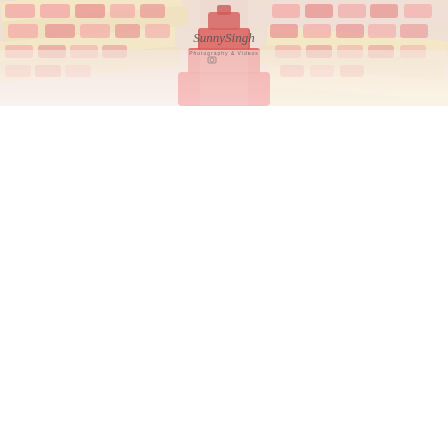[Figure (photo): Wedding or event decoration photo showing a red/coral tiered cake or decorative structure in the center, flanked by tables with pink and yellow decorated items arranged in rows. A photographer's watermark 'Sunny Singh Photography & Videos' is overlaid in the center of the image. The photo fades to white at the bottom.]